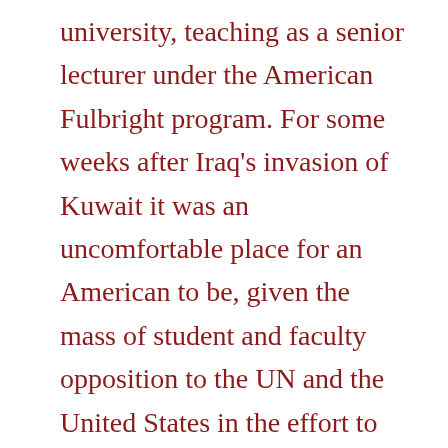university, teaching as a senior lecturer under the American Fulbright program. For some weeks after Iraq's invasion of Kuwait it was an uncomfortable place for an American to be, given the mass of student and faculty opposition to the UN and the United States in the effort to reverse Hussein's action. During the build-up phase prior to ground action by the UN coalition, I participated in several formal faculty debates attended by hundreds of students. In these I usually found myself a party of one in supporting the UN's and my country's actions.
One of the byproducts of this situation was